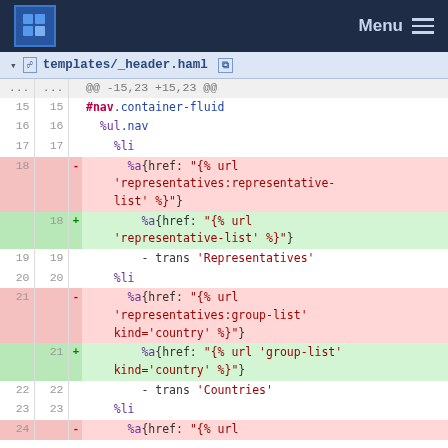Menu
templates/_header.haml
| old | new |  | code |
| --- | --- | --- | --- |
| ... | ... |  | @@ -15,23 +15,23 @@ |
| 15 | 15 |  | #nav.container-fluid |
| 16 | 16 |  |   %ul.nav |
| 17 | 17 |  |     %li |
| 18 |  | - |       %a{href: "{% url 'representatives:representative-list' %}"} |
|  | 18 | + |       %a{href: "{% url 'representative-list' %}"} |
| 19 | 19 |  |         - trans 'Representatives' |
| 20 | 20 |  |     %li |
| 21 |  | - |       %a{href: "{% url 'representatives:group-list' kind='country' %}"} |
|  | 21 | + |       %a{href: "{% url 'group-list' kind='country' %}"} |
| 22 | 22 |  |         - trans 'Countries' |
| 23 | 23 |  |     %li |
| 24 |  | - |       %a{href: "{% url |